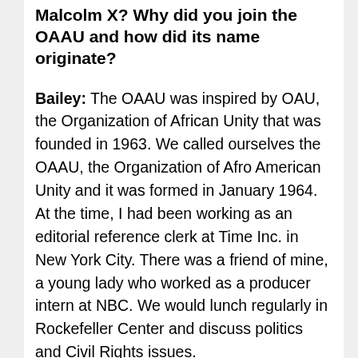Malcolm X? Why did you join the OAAU and how did its name originate?
Bailey: The OAAU was inspired by OAU, the Organization of African Unity that was founded in 1963. We called ourselves the OAAU, the Organization of Afro American Unity and it was formed in January 1964. At the time, I had been working as an editorial reference clerk at Time Inc. in New York City. There was a friend of mine, a young lady who worked as a producer intern at NBC. We would lunch regularly in Rockefeller Center and discuss politics and Civil Rights issues.
One day, the young woman asked if I would like to join a new Black Nationalist organization. The question startled me because she didn't look like a Black Nationalist type. After I agreed to join the organization, the young lady said she would call me over the weekend to discuss a meeting time